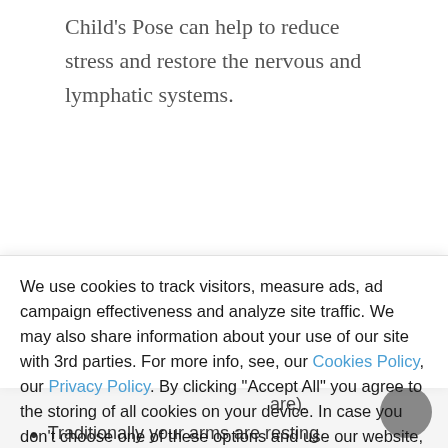Child's Pose can help to reduce stress and restore the nervous and lymphatic systems.
We use cookies to track visitors, measure ads, ad campaign effectiveness and analyze site traffic. We may also share information about your use of our site with 3rd parties. For more info, see, our Cookies Policy, our Privacy Policy. By clicking "Accept All" you agree to the storing of all cookies on your device. In case you don't choose one of these options and use our website, we will treat it as if you have accepted all cookies.
ACCEPT ALL
tight your hips are).
Traditionally your arms are resting